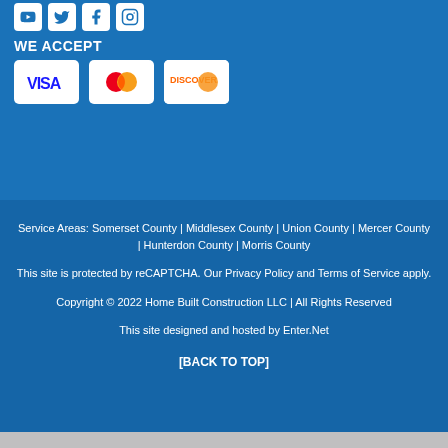[Figure (logo): Social media icons: YouTube, Twitter, Facebook, Instagram]
WE ACCEPT
[Figure (logo): Payment card logos: Visa, Mastercard, Discover]
Service Areas: Somerset County | Middlesex County | Union County | Mercer County | Hunterdon County | Morris County
This site is protected by reCAPTCHA. Our Privacy Policy and Terms of Service apply.
Copyright © 2022 Home Built Construction LLC | All Rights Reserved
This site designed and hosted by Enter.Net
[BACK TO TOP]